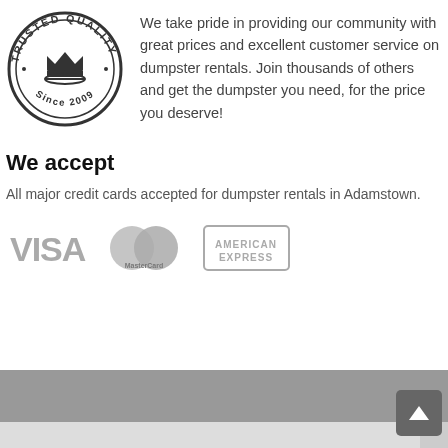[Figure (logo): Trusted Quality Since 2009 circular badge logo with crown in center]
We take pride in providing our community with great prices and excellent customer service on dumpster rentals. Join thousands of others and get the dumpster you need, for the price you deserve!
We accept
All major credit cards accepted for dumpster rentals in Adamstown.
[Figure (logo): VISA logo in gray]
[Figure (logo): MasterCard logo in gray]
[Figure (logo): American Express logo in gray]